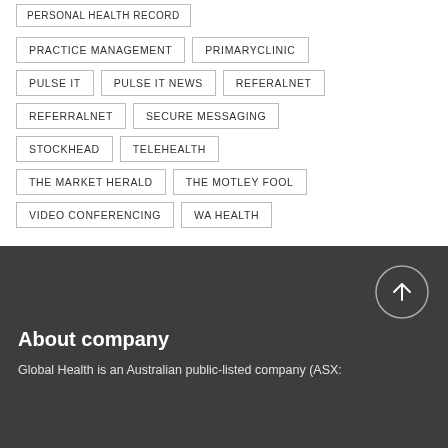PERSONAL HEALTH RECORD
PRACTICE MANAGEMENT
PRIMARYCLINIC
PULSE IT
PULSE IT NEWS
REFERALNET
REFERRALNET
SECURE MESSAGING
STOCKHEAD
TELEHEALTH
THE MARKET HERALD
THE MOTLEY FOOL
VIDEO CONFERENCING
WA HEALTH
About company
Global Health is an Australian public-listed company (ASX: